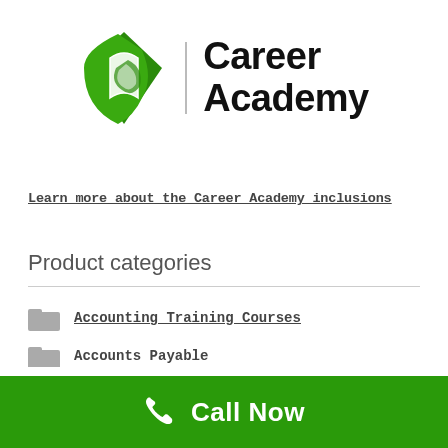[Figure (logo): Career Academy logo: green diamond-shaped icon with a hand/leaf illustration, a vertical divider line, and bold text 'Career Academy']
Learn more about the Career Academy inclusions
Product categories
Accounting Training Courses
Accounts Payable
Call Now